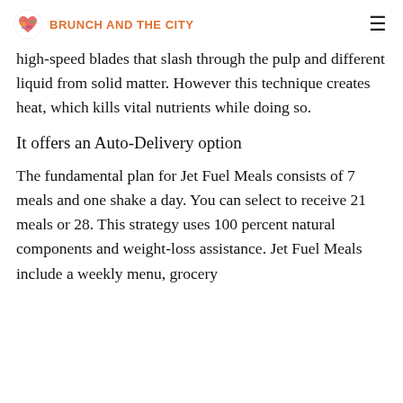BRUNCH AND THE CITY
high-speed blades that slash through the pulp and different liquid from solid matter. However this technique creates heat, which kills vital nutrients while doing so.
It offers an Auto-Delivery option
The fundamental plan for Jet Fuel Meals consists of 7 meals and one shake a day. You can select to receive 21 meals or 28. This strategy uses 100 percent natural components and weight-loss assistance. Jet Fuel Meals include a weekly menu, grocery